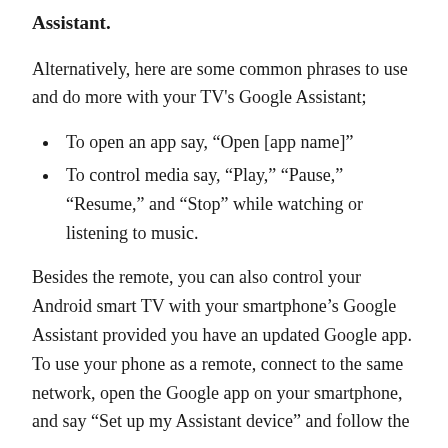Assistant.
Alternatively, here are some common phrases to use and do more with your TV's Google Assistant;
To open an app say, “Open [app name]”
To control media say, “Play,” “Pause,” “Resume,” and “Stop” while watching or listening to music.
Besides the remote, you can also control your Android smart TV with your smartphone’s Google Assistant provided you have an updated Google app. To use your phone as a remote, connect to the same network, open the Google app on your smartphone, and say “Set up my Assistant device” and follow the